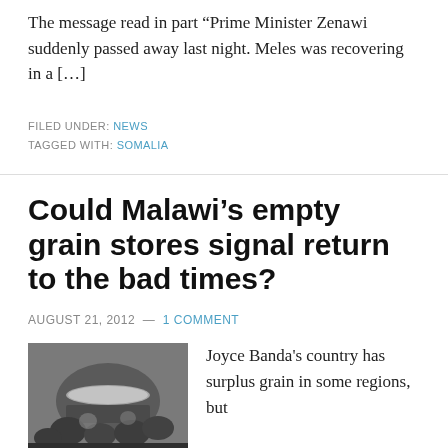The message read in part “Prime Minister Zenawi suddenly passed away last night. Meles was recovering in a […]
FILED UNDER: NEWS
TAGGED WITH: SOMALIA
Could Malawi’s empty grain stores signal return to the bad times?
AUGUST 21, 2012 — 1 COMMENT
[Figure (photo): Children holding empty bowls, photographed from above, black and white tones]
Joyce Banda's country has surplus grain in some regions, but